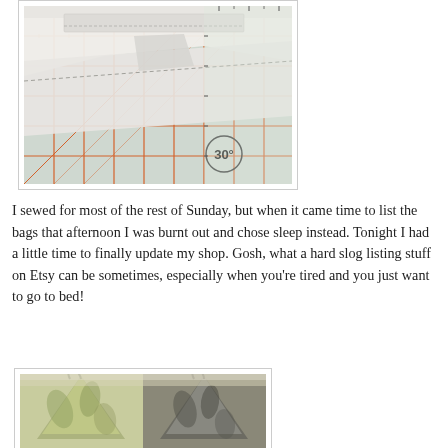[Figure (photo): Close-up photo of white fabric being sewn on a quilting ruler/mat with orange grid lines and a 30-degree angle marking visible]
I sewed for most of the rest of Sunday, but when it came time to list the bags that afternoon I was burnt out and chose sleep instead. Tonight I had a little time to finally update my shop. Gosh, what a hard slog listing stuff on Etsy can be sometimes, especially when you're tired and you just want to go to bed!
[Figure (photo): Two fabric bags side by side — left bag is green patterned, right bag is grey/dark patterned, both appear to be pyramid or triangle-shaped pouches]